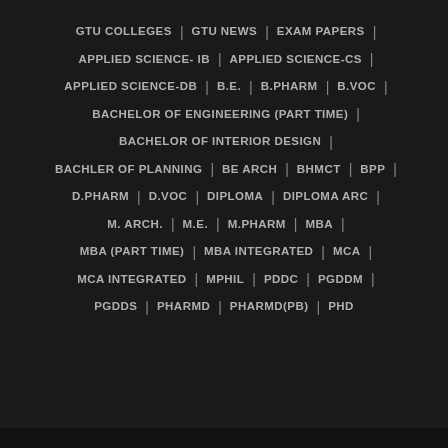GTU COLLEGES | GTU NEWS | EXAM PAPERS |
APPLIED SCIENCE- IB | APPLIED SCIENCE-CS |
APPLIED SCIENCE-DB | B.E. | B.PHARM | B.VOC |
BACHELOR OF ENGINEERING (PART TIME) |
BACHELOR OF INTERIOR DESIGN |
BACHLER OF PLANNING | BE ARCH | BHMCT | BPP |
D.PHARM | D.VOC | DIPLOMA | DIPLOMA ARC |
M. ARCH. | M.E. | M.PHARM | MBA |
MBA (PART TIME) | MBA INTEGRATED | MCA |
MCA INTEGRATED | MPHIL | PDDC | PGDDM |
PGDDS | PHARMD | PHARMD(PB) | PHD